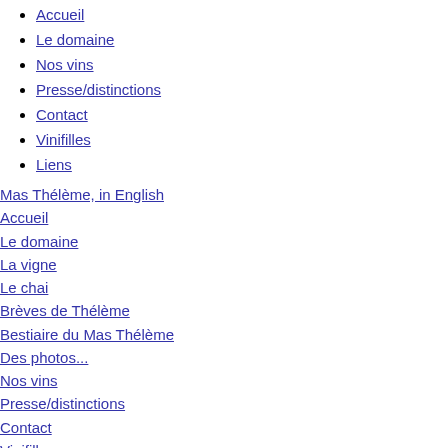Accueil
Le domaine
Nos vins
Presse/distinctions
Contact
Vinifilles
Liens
Mas Thélème, in English
Accueil
Le domaine
La vigne
Le chai
Brèves de Thélème
Bestiaire du Mas Thélème
Des photos...
Nos vins
Presse/distinctions
Contact
Vinifilles
Liens
rechercher...
Voir aussi
La vigne
Le chai
Brèves de Thélème
Bestiaire du Mas Thélème